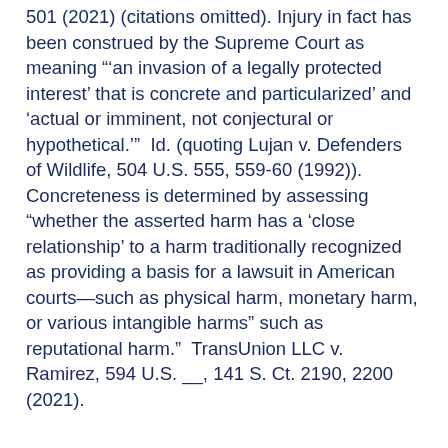501 (2021) (citations omitted). Injury in fact has been construed by the Supreme Court as meaning "'an invasion of a legally protected interest' that is concrete and particularized' and 'actual or imminent, not conjectural or hypothetical.'"  Id. (quoting Lujan v. Defenders of Wildlife, 504 U.S. 555, 559-60 (1992)).  Concreteness is determined by assessing "whether the asserted harm has a 'close relationship' to a harm traditionally recognized as providing a basis for a lawsuit in American courts—such as physical harm, monetary harm, or various intangible harms" such as reputational harm."  TransUnion LLC v. Ramirez, 594 U.S. __, 141 S. Ct. 2190, 2200 (2021).
The Eighth Circuit noted that, although the FCRA grants a statutory right to sue to vindicate violations of the statute, "Article III standing requires a concrete injury even in the context of a statutory violation." Spokeo, 578 U.S. at 341. In reviewing whether Prospective Employee had standing, the Court noted that only plaintiffs who have suffered a concrete harm (physical, monetary, or cognizable intangible harm) have standing, while those seeking to collect statutorily